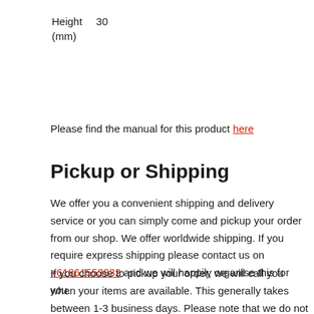| Height (mm) | 30 |
Please find the manual for this product here
Pickup or Shipping
We offer you a convenient shipping and delivery service or you can simply come and pickup your order from our shop. We offer worldwide shipping. If you require express shipping please contact us on +61861553932 and we will happily organise this for you.
If you choose to pickup your order, we will call you when your items are available. This generally takes between 1-3 business days. Please note that we do not regularly stock all items in our shop so please wait for us to confirm they